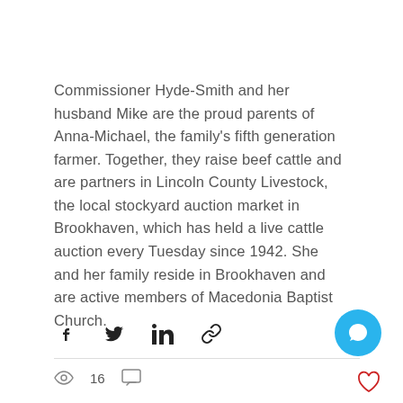Commissioner Hyde-Smith and her husband Mike are the proud parents of Anna-Michael, the family's fifth generation farmer. Together, they raise beef cattle and are partners in Lincoln County Livestock, the local stockyard auction market in Brookhaven, which has held a live cattle auction every Tuesday since 1942. She and her family reside in Brookhaven and are active members of Macedonia Baptist Church.
[Figure (infographic): Social sharing icons: Facebook, Twitter, LinkedIn, link/chain icon, and a blue chat button on the right.]
[Figure (infographic): Stats bar showing eye/view icon with count 16, comment icon, and a red heart/like icon on the right.]